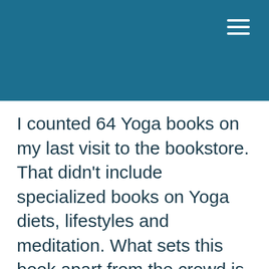I counted 64 Yoga books on my last visit to the bookstore. That didn't include specialized books on Yoga diets, lifestyles and meditation. What sets this book apart from the crowd is its clear, straightforward and accessible approach to the principles of Yoga Asana. The hips are exciting, dynamic and challenging. This book